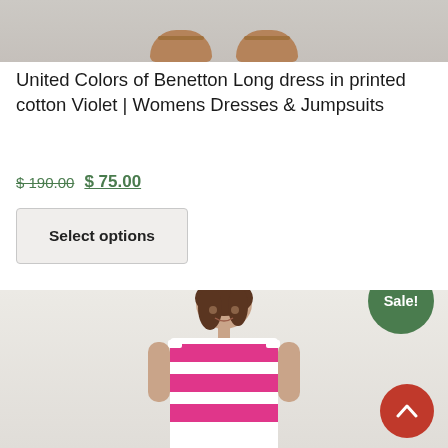[Figure (photo): Bottom portion of a woman's feet wearing brown sandals against a light grey/beige background]
United Colors of Benetton Long dress in printed cotton Violet | Womens Dresses & Jumpsuits
$ 190.00 $ 75.00
Select options
[Figure (photo): Woman with brown hair wearing a pink and white horizontal striped sleeveless dress, standing against a beige background. A green Sale! badge is visible in the top right corner.]